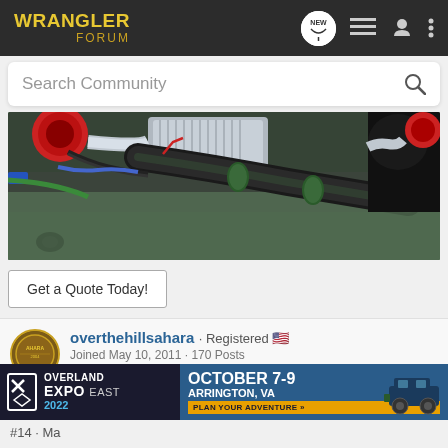WRANGLER FORUM
Search Community
[Figure (photo): Close-up photo of a Jeep Wrangler engine bay showing supercharger/intercooler components, intake pipes, hoses, and a red cone air filter on a green engine block]
Get a Quote Today!
overthehillsahara · Registered 🇺🇸
Joined May 10, 2011 · 170 Posts
[Figure (infographic): Overland Expo East 2022 advertisement banner: OVERLAND EXPO EAST 2022 | OCTOBER 7-9 ARRINGTON, VA | PLAN YOUR ADVENTURE »]
#14 · Ma